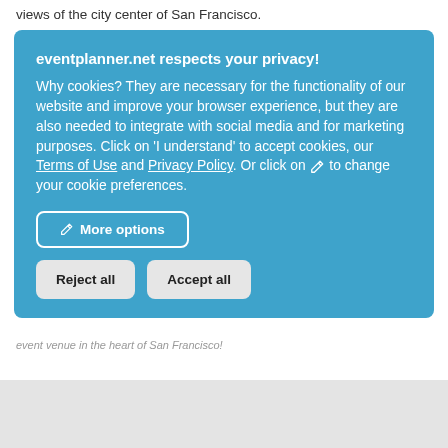views of the city center of San Francisco.
eventplanner.net respects your privacy!
Why cookies? They are necessary for the functionality of our website and improve your browser experience, but they are also needed to integrate with social media and for marketing purposes. Click on 'I understand' to accept cookies, our Terms of Use and Privacy Policy. Or click on ✏ to change your cookie preferences.
More options
Reject all
Accept all
event venue in the heart of San Francisco!